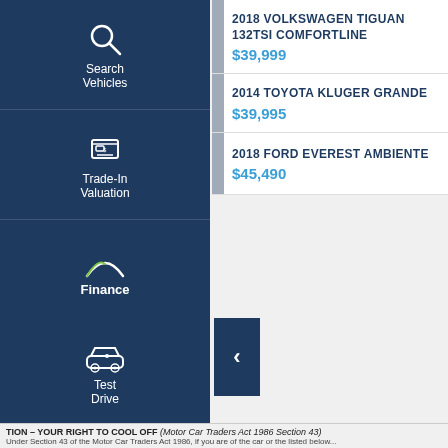[Figure (screenshot): Sidebar navigation with Search Vehicles, Trade-In Valuation, Finance Score, Finance Enquiry, Test Drive icons on dark blue background]
2018 VOLKSWAGEN TIGUAN 132TSI COMFORTLINE $39,999
2014 TOYOTA KLUGER GRANDE $39,995
2018 FORD EVEREST AMBIENTE $45,490
TION – YOUR RIGHT TO COOL OFF (Motor Car Traders Act 1986 Section 43) Under Section 43 of the Motor Car Traders Act 1986, if you are of the car or the listed below...